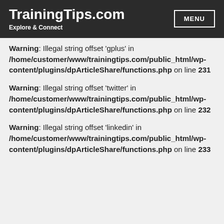TrainingTips.com — Explore & Connect
Warning: Illegal string offset 'gplus' in /home/customer/www/trainingtips.com/public_html/wp-content/plugins/dpArticleShare/functions.php on line 231
Warning: Illegal string offset 'twitter' in /home/customer/www/trainingtips.com/public_html/wp-content/plugins/dpArticleShare/functions.php on line 232
Warning: Illegal string offset 'linkedin' in /home/customer/www/trainingtips.com/public_html/wp-content/plugins/dpArticleShare/functions.php on line 233